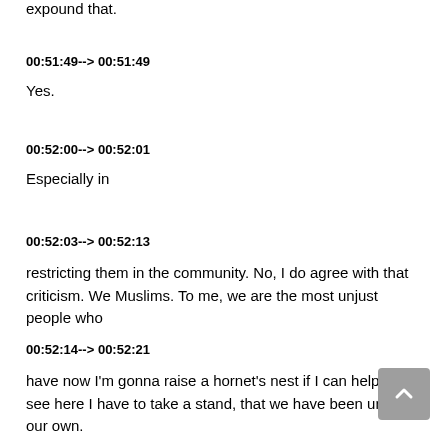expound that.
00:51:49--> 00:51:49
Yes.
00:52:00--> 00:52:01
Especially in
00:52:03--> 00:52:13
restricting them in the community. No, I do agree with that criticism. We Muslims. To me, we are the most unjust people who
00:52:14--> 00:52:21
have now I'm gonna raise a hornet's nest if I can help it. You see here I have to take a stand, that we have been unjust to our own.